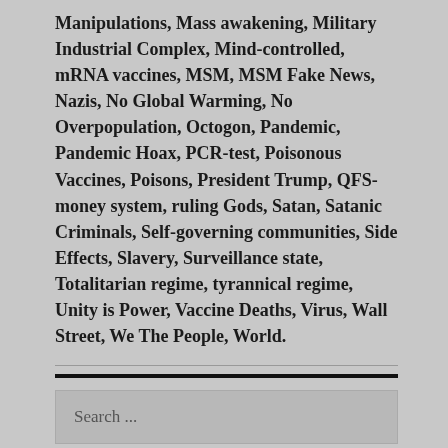Manipulations, Mass awakening, Military Industrial Complex, Mind-controlled, mRNA vaccines, MSM, MSM Fake News, Nazis, No Global Warming, No Overpopulation, Octogon, Pandemic, Pandemic Hoax, PCR-test, Poisonous Vaccines, Poisons, President Trump, QFS-money system, ruling Gods, Satan, Satanic Criminals, Self-governing communities, Side Effects, Slavery, Surveillance state, Totalitarian regime, tyrannical regime, Unity is Power, Vaccine Deaths, Virus, Wall Street, We The People, World.
Search ...
SEPTEMBER 2022
| M | T | W | T | F | S | S |
| --- | --- | --- | --- | --- | --- | --- |
|  |  |  | 1 | 2 | 3 | 4 |
| 5 | 6 | 7 | 8 | 9 | 10 | 11 |